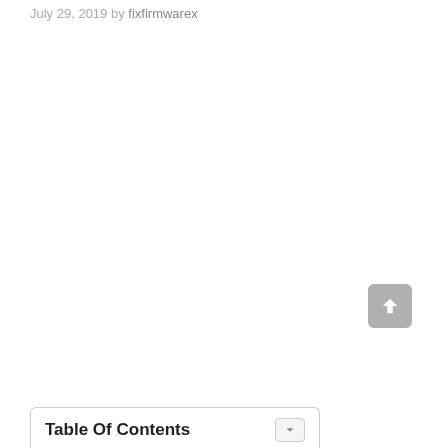July 29, 2019 by fixfirmwarex
Table Of Contents